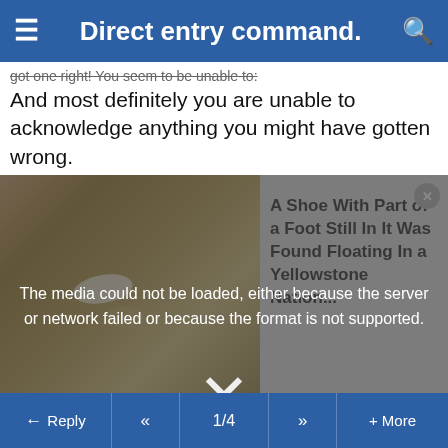Direct entry command.
got one right! You seem to be unable to:
And most definitely you are unable to acknowledge anything you might have gotten wrong.
[Figure (screenshot): Media error overlay with text 'The media could not be loaded, either because the server or network failed or because the format is not supported.' overlaid on an image and a news headline 'A Shoe With Part of a Foot Still In It Was Found Floating In a Yellowstone Nation...' with a close button and X dismiss button]
Save with RAM Parts
Aircraft Parts
RAM Parts are FAA certified replacement parts for your Continental engine.
ramaircraft.com
OPEN
Reply  «  1/4  »  + More